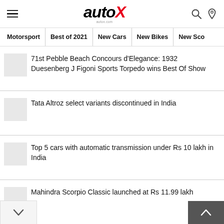autoX
71st Pebble Beach Concours d’Elegance: 1932 Duesenberg J Figoni Sports Torpedo wins Best Of Show
Tata Altroz select variants discontinued in India
Top 5 cars with automatic transmission under Rs 10 lakh in India
Mahindra Scorpio Classic launched at Rs 11.99 lakh